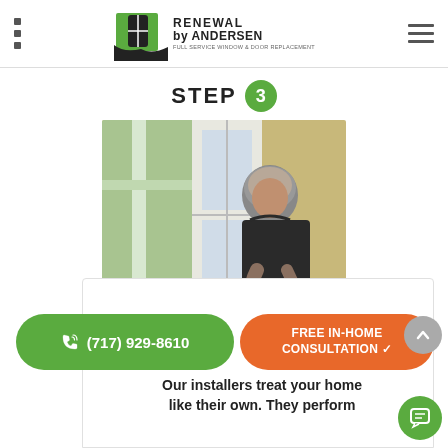[Figure (logo): Renewal by Andersen logo with green and black graphic of window installer, company name and tagline 'FULL SERVICE WINDOW & DOOR REPLACEMENT']
STEP 3
[Figure (photo): A man in a dark polo shirt installing or inspecting a window, leaning forward focused on the frame]
(717) 929-8610
FREE IN-HOME CONSULTATION ✓
Our installers treat your home like their own. They perform our signature installation and...